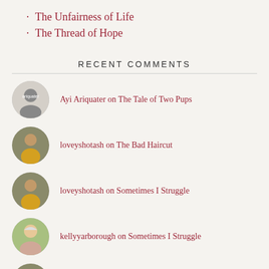The Unfairness of Life
The Thread of Hope
RECENT COMMENTS
Ayi Ariquater on The Tale of Two Pups
loveyshotash on The Bad Haircut
loveyshotash on Sometimes I Struggle
kellyyarborough on Sometimes I Struggle
loveyshotash on Sometimes I Struggle